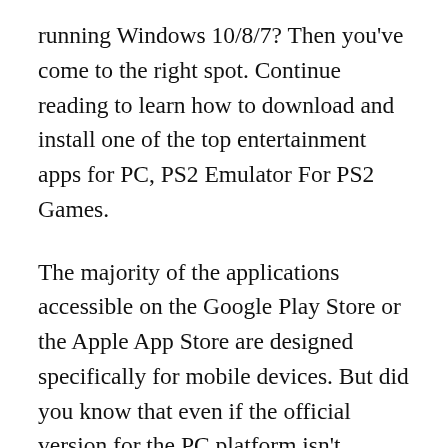running Windows 10/8/7? Then you've come to the right spot. Continue reading to learn how to download and install one of the top entertainment apps for PC, PS2 Emulator For PS2 Games.
The majority of the applications accessible on the Google Play Store or the Apple App Store are designed specifically for mobile devices. But did you know that even if the official version for the PC platform isn't available, you may still use any of your favorite Android or iOS applications on your laptop? Yes, there are a few easy strategies you can use to install Android applications on Windows laptops and